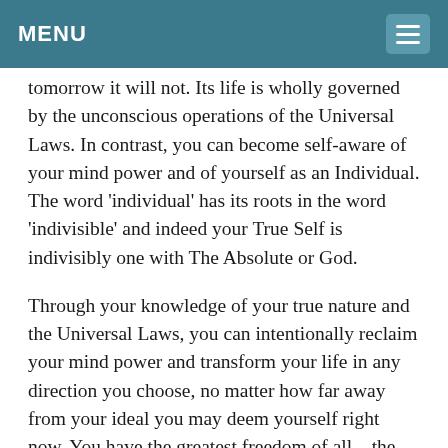MENU
tomorrow it will not. Its life is wholly governed by the unconscious operations of the Universal Laws. In contrast, you can become self-aware of your mind power and of yourself as an Individual. The word 'individual' has its roots in the word 'indivisible' and indeed your True Self is indivisibly one with The Absolute or God.
Through your knowledge of your true nature and the Universal Laws, you can intentionally reclaim your mind power and transform your life in any direction you choose, no matter how far away from your ideal you may deem yourself right now. You have the greatest freedom of all—the freedom of choice. Every day you get to choose joy over